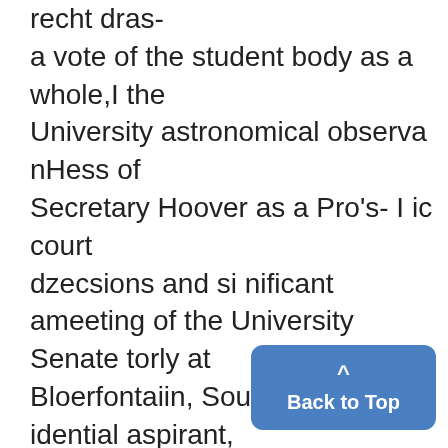recht dras- a vote of the student body as a whole,I the University astronomical observa nHess of Secretary Hoover as a Pro's- I ic court dzecsions and si nificant ameeting of the University Senate torly at Bloerfontaiin, South Af ica idential aspirant, andc the "etllifia- egsation inti'cduced in the present Afia!tion'" in Southern states of the ds-i Congress desiged to remove the legal which has to appoint the men which comes the information that Carl .! rnh TimampsenwicUinsidte-